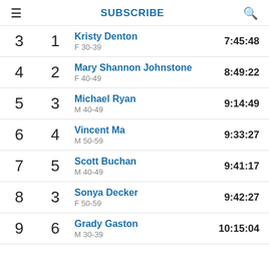SUBSCRIBE
| Overall Rank | AG Rank | Name / Category | Time |
| --- | --- | --- | --- |
| 3 | 1 | Kristy Denton / F 30-39 | 7:45:48 |
| 4 | 2 | Mary Shannon Johnstone / F 40-49 | 8:49:22 |
| 5 | 3 | Michael Ryan / M 40-49 | 9:14:49 |
| 6 | 4 | Vincent Ma / M 50-59 | 9:33:27 |
| 7 | 5 | Scott Buchan / M 40-49 | 9:41:17 |
| 8 | 3 | Sonya Decker / F 50-59 | 9:42:27 |
| 9 | 6 | Grady Gaston / M 30-39 | 10:15:04 |